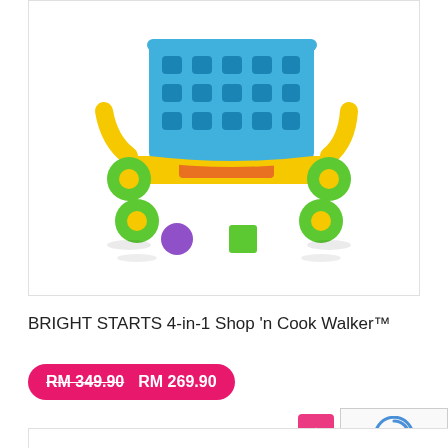[Figure (photo): Bright Starts 4-in-1 Shop n Cook Walker toy — a colorful baby walker with blue mesh basket on top, yellow frame, green wheels, orange ramp, and small toy shapes (purple ball, green cube) on white background.]
BRIGHT STARTS 4-in-1 Shop 'n Cook Walker™
RM 349.90   RM 269.90
[Figure (other): reCAPTCHA logo and Privacy - Terms text overlay in bottom right corner]